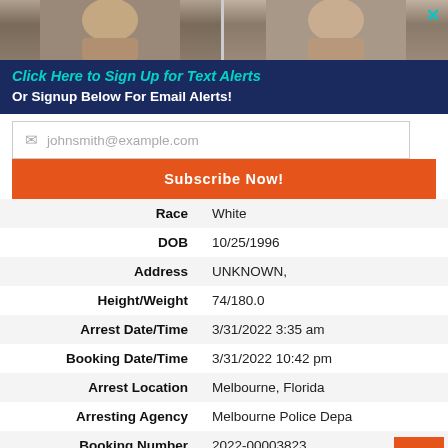[Figure (photo): Two mugshot photos partially visible at top of page, faces cropped, gray/brown tones]
Click Here to Sign Up for Text Alerts
Or Signup Below For Email Alerts!
johnsmith@example.com (placeholder)
Subscribe Now!
| Field | Value |
| --- | --- |
| Race | White |
| DOB | 10/25/1996 |
| Address | UNKNOWN, |
| Height/Weight | 74/180.0 |
| Arrest Date/Time | 3/31/2022 3:35 am |
| Booking Date/Time | 3/31/2022 10:42 pm |
| Arrest Location | Melbourne, Florida |
| Arresting Agency | Melbourne Police Depa... |
| Booking Number | 2022-00003823 |
| Prisoner Type | 08 - MAM Awaiting Trial |